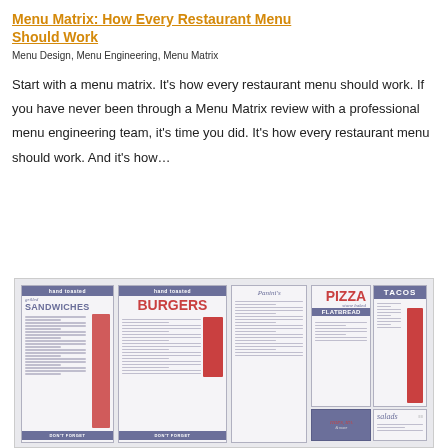Menu Matrix: How Every Restaurant Menu Should Work
Menu Design, Menu Engineering, Menu Matrix
Start with a menu matrix. It’s how every restaurant menu should work. If you have never been through a Menu Matrix review with a professional menu engineering team, it’s time you did. It’s how every restaurant menu should work. And it’s how…
[Figure (photo): A composite image of multiple restaurant menu panels showing sections including grilled Sandwiches, Burgers, Panini's, Pizza stone baked Flatbread, Tacos, Wraps, salads, and Don't Forget categories. The menus feature a slate blue/gray, red, and white color scheme.]